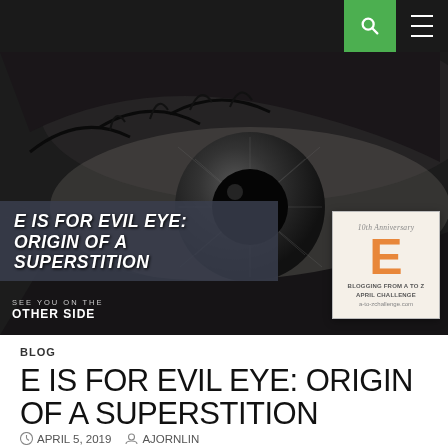[Figure (screenshot): Website navigation bar with dark background, green search icon button and white hamburger menu icon on right side]
[Figure (photo): Hero image of a close-up black and white eye with stylized italic all-caps title text 'E IS FOR EVIL EYE: ORIGIN OF A SUPERSTITION' over a dark overlay band, blog branding 'SEE YOU ON THE OTHER SIDE' lower left, and a square badge for 'Blogging From A to Z April Challenge' with large orange E letter in lower right]
BLOG
E IS FOR EVIL EYE: ORIGIN OF A SUPERSTITION
APRIL 5, 2019   AJORNLIN